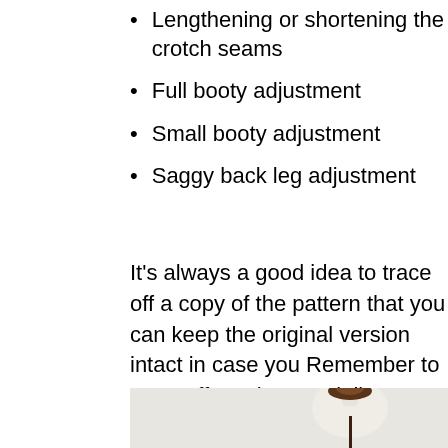Lengthening or shortening the crotch seams
Full booty adjustment
Small booty adjustment
Saggy back leg adjustment
It’s always a good idea to trace off a copy of the pattern that you can keep the original version intact in case yo… Remember to trace off notches, grainline arrows and a…
[Figure (photo): A dress form / mannequin torso with a brown wooden knob top, set against a light gray/white background. The mannequin is cream/off-white fabric and is positioned to the right of center.]